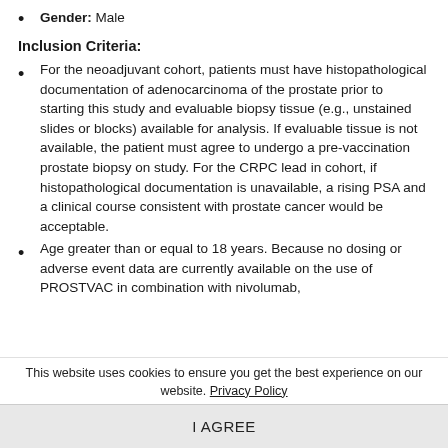Gender: Male
Inclusion Criteria:
For the neoadjuvant cohort, patients must have histopathological documentation of adenocarcinoma of the prostate prior to starting this study and evaluable biopsy tissue (e.g., unstained slides or blocks) available for analysis. If evaluable tissue is not available, the patient must agree to undergo a pre-vaccination prostate biopsy on study. For the CRPC lead in cohort, if histopathological documentation is unavailable, a rising PSA and a clinical course consistent with prostate cancer would be acceptable.
Age greater than or equal to 18 years. Because no dosing or adverse event data are currently available on the use of PROSTVAC in combination with nivolumab,
This website uses cookies to ensure you get the best experience on our website. Privacy Policy
I AGREE